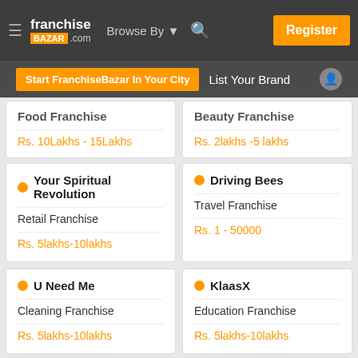franchise BAZAR .com | Browse By | Register
Start FranchiseBazar In Your City | List Your Brand
Food Franchise
Rs. 10Lakhs - 15Lakhs
Beauty Franchise
Rs. 2lakhs -5 lakhs
Your Spiritual Revolution
Retail Franchise
Rs. 5lakhs-10lakhs
Driving Bees
Travel Franchise
Rs. 1 - 50000
U Need Me
Cleaning Franchise
Rs. 5lakhs-10lakhs
KlaasX
Education Franchise
Rs. 5lakhs-10lakhs